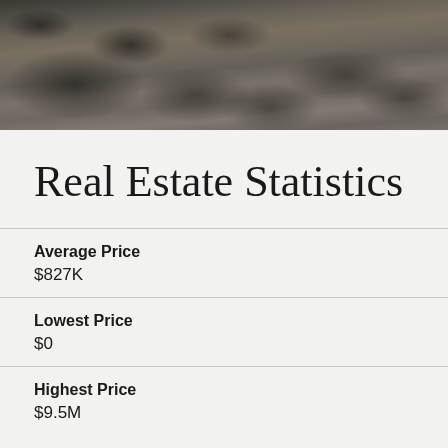[Figure (photo): Aerial or ground-level photo of a rocky riverbed or stream with stones and water]
Real Estate Statistics
Average Price
$827K
Lowest Price
$0
Highest Price
$9.5M